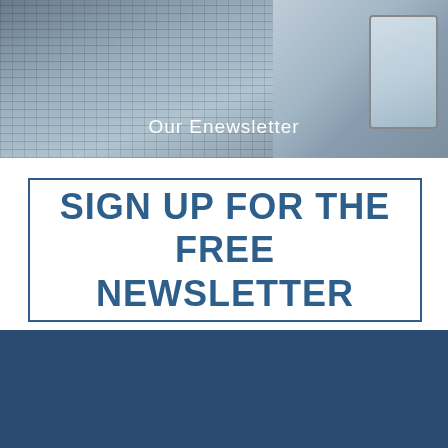[Figure (photo): Photo of laptop, tablet, and phone on a wooden surface with dark overlay, showing 'Our Enewsletter' text]
SIGN UP FOR THE FREE NEWSLETTER
ADVERTISE • ABOUT US • TERMS • PRIVACY POLICY
1845 Walnut Street • Suite 900 Philadelphia, PA 19103